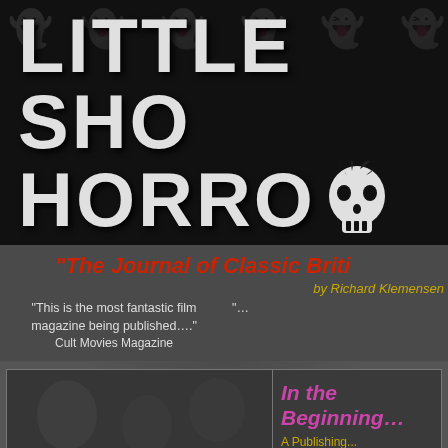[Figure (logo): Little Shop of Horrors magazine logo — large white bold text on black background reading LITTLE SHO... on top line and HORRO... on bottom line, with a skull/plant illustration between the two lines]
“The Journal of Classic Briti...
by Richard Klemensen
“This is the most fantastic film magazine being published….” Cult Movies Magazine
“…
[Figure (photo): Dark background photo/image placeholder on left side of bottom section]
In the Beginning…
A Publishing...